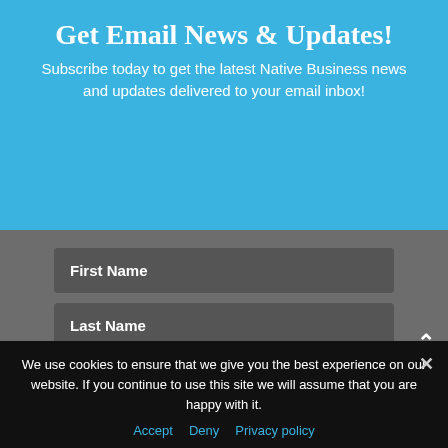Get Email News & Updates!
Subscribe today to get the latest Native Business news and updates delivered to your email inbox!
[Figure (screenshot): Email subscription form with fields for First Name, Last Name, Email, and a SUBSCRIBE! button on a grey background]
We use cookies to ensure that we give you the best experience on our website. If you continue to use this site we will assume that you are happy with it.
Accept   Deny   Privacy policy